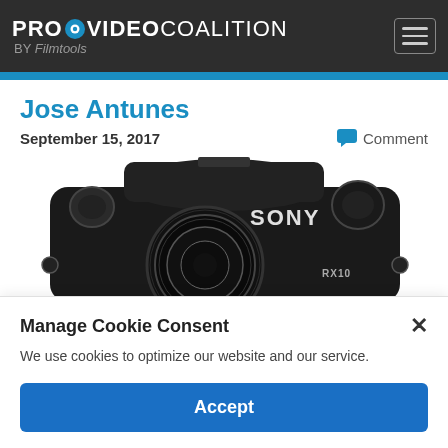PROVIDEO COALITION BY Filmtools
Jose Antunes
September 15, 2017   Comment
[Figure (photo): Sony RX10 camera close-up, black body with ZEISS lens, showing top controls and branding]
Manage Cookie Consent
We use cookies to optimize our website and our service.
Accept